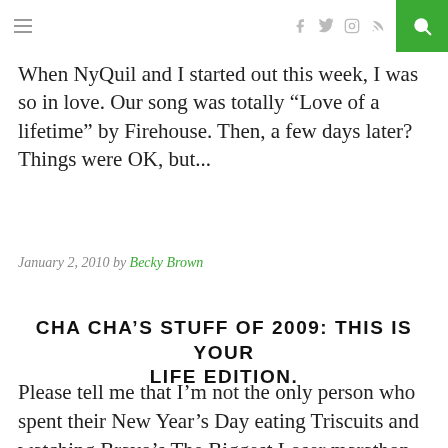≡  f  𝕏  ◯  ))) 🔍
When NyQuil and I started out this week, I was so in love. Our song was totally “Love of a lifetime” by Firehouse. Then, a few days later? Things were OK, but...
January 2, 2010 by Becky Brown
CHA CHA'S STUFF OF 2009: THIS IS YOUR LIFE EDITION.
Please tell me that I'm not the only person who spent their New Year's Day eating Triscuits and watching Bravo's The Biggest Loser marathon. Anyone? Oh-kay, then. Wretched Cold is totally rocking...